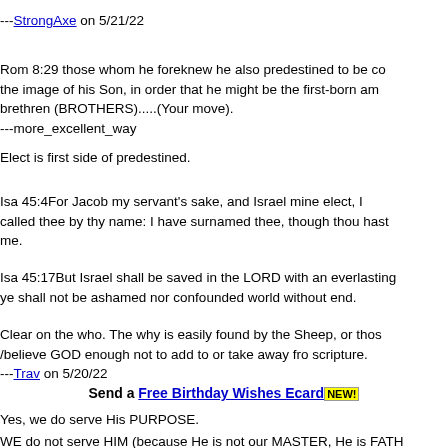---StrongAxe on 5/21/22
Rom 8:29 those whom he foreknew he also predestined to be co... the image of his Son, in order that he might be the first-born am... brethren (BROTHERS).....(Your move).
---more_excellent_way
Elect is first side of predestined.
Isa 45:4For Jacob my servant's sake, and Israel mine elect, I ... called thee by thy name: I have surnamed thee, though thou hast... me.
Isa 45:17But Israel shall be saved in the LORD with an everlasting... ye shall not be ashamed nor confounded world without end.
Clear on the who. The why is easily found by the Sheep, or thos... /believe GOD enough not to add to or take away fro scripture.
---Trav on 5/20/22
Send a Free Birthday Wishes Ecard NEW!
Yes, we do serve His PURPOSE.
WE do not serve HIM (because He is not our MASTER, He is FATH...